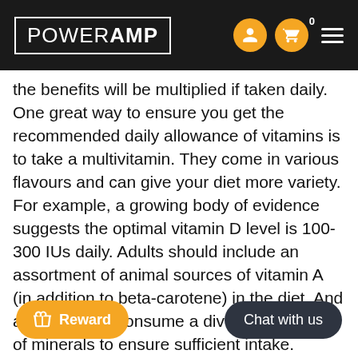POWERAMP
the benefits will be multiplied if taken daily. One great way to ensure you get the recommended daily allowance of vitamins is to take a multivitamin. They come in various flavours and can give your diet more variety.
For example, a growing body of evidence suggests the optimal vitamin D level is 100-300 IUs daily. Adults should include an assortment of animal sources of vitamin A (in addition to beta-carotene) in the diet. And adults should consume a diverse selection of minerals to ensure sufficient intake.
PowerAMP's Everyday Sports Multivitamin
Everyday Sports Multivitamin is a [...]ll-in[...] vitamin and mineral [...] de[...] both male and female athletes.
Everyday Sports Multivitamin works to support